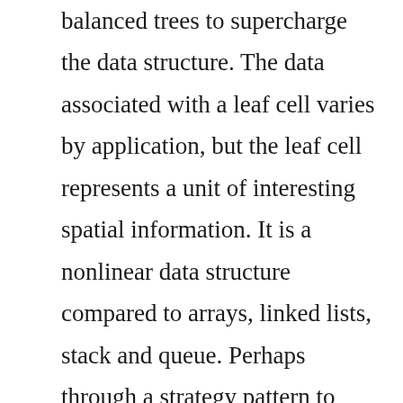balanced trees to supercharge the data structure. The data associated with a leaf cell varies by application, but the leaf cell represents a unit of interesting spatial information. It is a nonlinear data structure compared to arrays, linked lists, stack and queue. Perhaps through a strategy pattern to solve the issues presented in the article. This video is a part of hackerranks cracking the coding interview tutorial with gayle laakmann mcdowell. To develop a program of an algorithm we should select an appropriate data structure for that algorithm. First, we use an